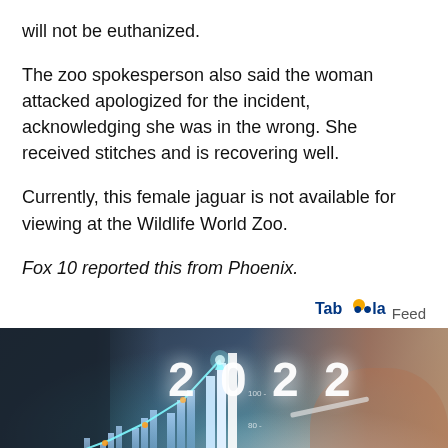will not be euthanized.
The zoo spokesperson also said the woman attacked apologized for the incident, acknowledging she was in the wrong. She received stitches and is recovering well.
Currently, this female jaguar is not available for viewing at the Wildlife World Zoo.
Fox 10 reported this from Phoenix.
Taboola Feed
[Figure (photo): A person's hand pointing or writing near a bar/line chart overlay showing years 2019, 2020, 2021, and large '2022' text with glowing chart elements, financial or business concept image]